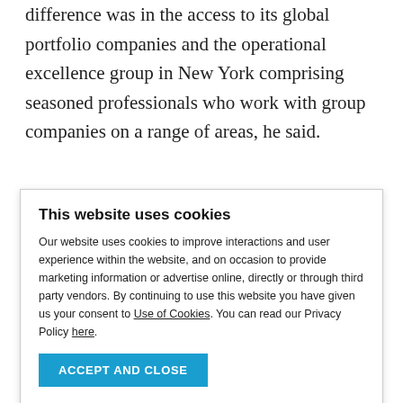difference was in the access to its global portfolio companies and the operational excellence group in New York comprising seasoned professionals who work with group companies on a range of areas, he said.
“That’s an added benefit for us to get to
This website uses cookies
Our website uses cookies to improve interactions and user experience within the website, and on occasion to provide marketing information or advertise online, directly or through third party vendors. By continuing to use this website you have given us your consent to Use of Cookies. You can read our Privacy Policy here.
ACCEPT AND CLOSE
Show details
Necessary   Preferences   Statistics   Marketing